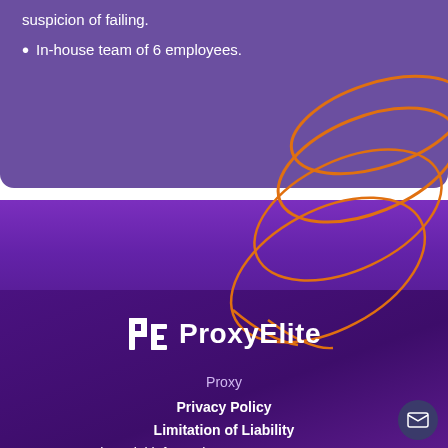suspicion of failing.
In-house team of 6 employees.
[Figure (illustration): Orange decorative swirl/loop design element overlaid across the purple section and white gap]
[Figure (logo): ProxyElite logo with stylized PE icon and company name in white text]
Proxy
Privacy Policy
Limitation of Liability
Financial information: FastServers EE OU